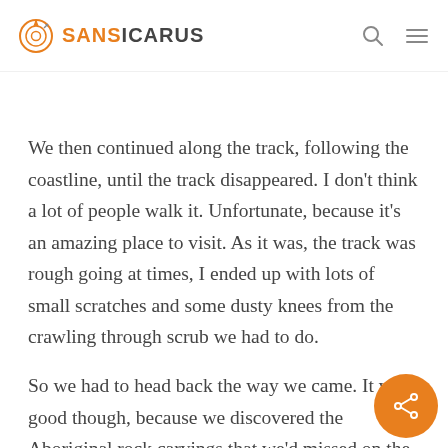SANSICARUS
We then continued along the track, following the coastline, until the track disappeared. I don’t think a lot of people walk it. Unfortunate, because it’s an amazing place to visit. As it was, the track was rough going at times, I ended up with lots of small scratches and some dusty knees from the crawling through scrub we had to do.
So we had to head back the way we came. It was good though, because we discovered the Aboriginal rock carvings that we’d missed on the